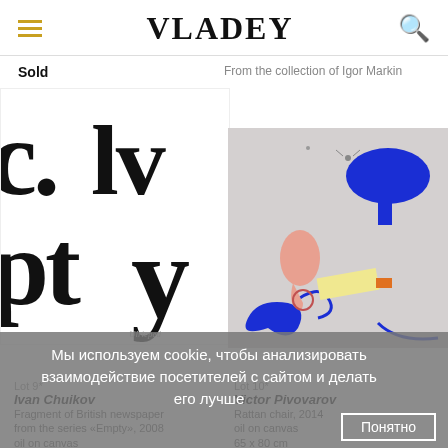VLADEY
Sold
From the collection of Igor Markin
[Figure (photo): Close-up artwork: large black serif letterforms 'c. lv' and 'pt y' on white background, fragment of newspaper series]
[Figure (illustration): Abstract artwork: stylized figures with blue, pink, yellow, and orange shapes on gray background by Victor Pivovarov]
Lot 9*
Ivan Chuikov
Fragment of British newspaper from the series «Empty», 2008
oil on canvas
Lot 10*
Victor Pivovarov
Rattan chair, 2014
oil on canvas
65 x 80 cm
Мы используем cookie, чтобы анализировать взаимодействие посетителей с сайтом и делать его лучше
Понятно